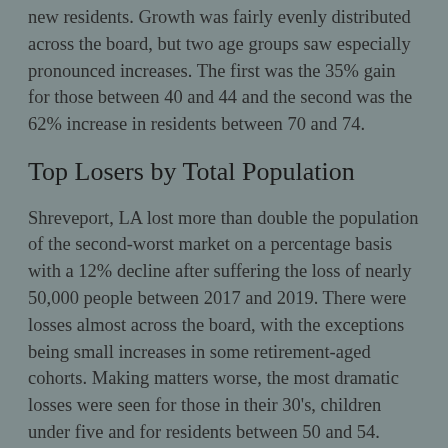new residents. Growth was fairly evenly distributed across the board, but two age groups saw especially pronounced increases. The first was the 35% gain for those between 40 and 44 and the second was the 62% increase in residents between 70 and 74.
Top Losers by Total Population
Shreveport, LA lost more than double the population of the second-worst market on a percentage basis with a 12% decline after suffering the loss of nearly 50,000 people between 2017 and 2019. There were losses almost across the board, with the exceptions being small increases in some retirement-aged cohorts. Making matters worse, the most dramatic losses were seen for those in their 30’s, children under five and for residents between 50 and 54.
The market to lose the second-most in total population on a percentage basis was Fort Wayne, IN. A little more than 20,000 in population lost represented a 5% loss. Despite gains across the board